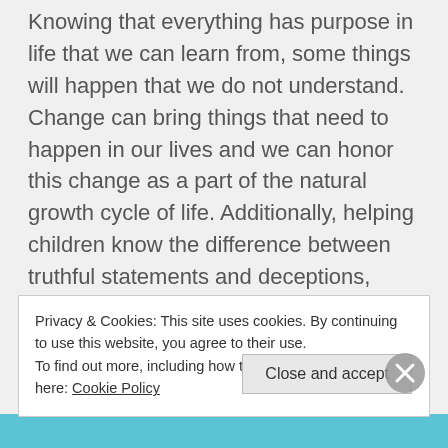Knowing that everything has purpose in life that we can learn from, some things will happen that we do not understand. Change can bring things that need to happen in our lives and we can honor this change as a part of the natural growth cycle of life. Additionally, helping children know the difference between truthful statements and deceptions, fantasy and make-believe characters, by discerning imposter energies that try to control through manipulation, are vital life skills needed at this point
Privacy & Cookies: This site uses cookies. By continuing to use this website, you agree to their use.
To find out more, including how to control cookies, see here: Cookie Policy
Close and accept